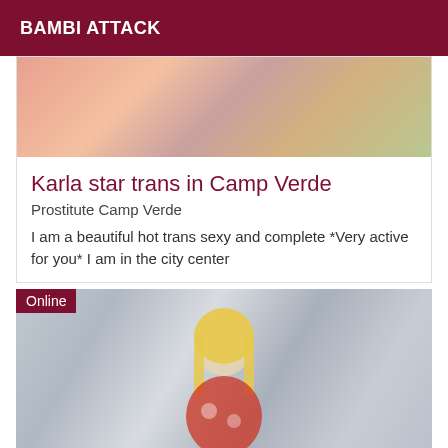BAMBI ATTACK
[Figure (photo): Top portion of a photo showing colorful fabric/clothing in orange and pink tones with what appears to be a hand and some items in the background]
Karla star trans in Camp Verde
Prostitute Camp Verde
I am a beautiful hot trans sexy and complete *Very active for you* I am in the city center
[Figure (photo): Photo of a blonde woman with long straight hair and red lips, wearing a red floral top, posing in what appears to be a train or similar transport setting with blurred metallic background. An 'Online' badge is shown in the top-left corner.]